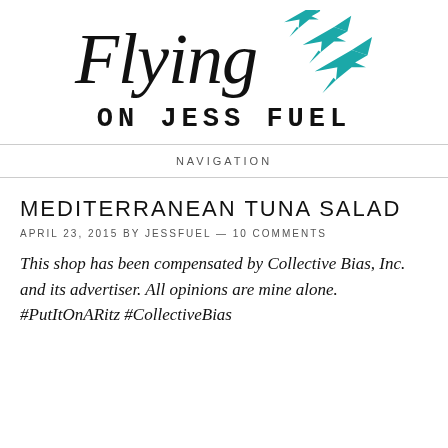Flying ON JESS FUEL
NAVIGATION
MEDITERRANEAN TUNA SALAD
APRIL 23, 2015 BY JESSFUEL — 10 COMMENTS
This shop has been compensated by Collective Bias, Inc. and its advertiser. All opinions are mine alone. #PutItOnARitz #CollectiveBias